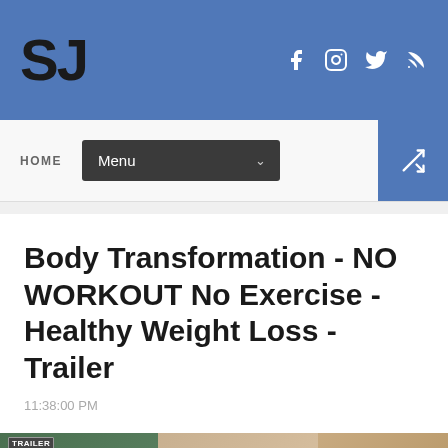SJ
HOME  Menu  (shuffle icon)
Body Transformation - NO WORKOUT No Exercise - Healthy Weight Loss - Trailer
11:38:00 PM
[Figure (photo): Video thumbnail strip showing before/after body transformation with red arrows, TRAILER HD badge, people on green and beige backgrounds]